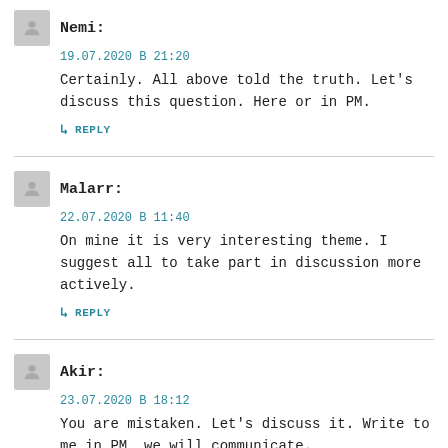Nemi:
19.07.2020 В 21:20
Certainly. All above told the truth. Let's discuss this question. Here or in PM.
REPLY
Malarr:
22.07.2020 В 11:40
On mine it is very interesting theme. I suggest all to take part in discussion more actively.
REPLY
Akir:
23.07.2020 В 18:12
You are mistaken. Let's discuss it. Write to me in PM, we will communicate.